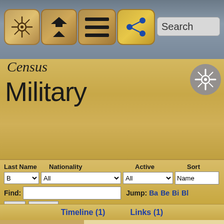[Figure (screenshot): Navigation bar with wheel icon, home/up icons, hamburger menu icon, share icon, and search bar]
Census
Military
[Figure (screenshot): Filter controls: Last Name (B), Nationality (All), Active (All), Sort (Name), Find input, Jump links Ba Be Bi Bl, Go and Reset buttons]
Timeline (1)    Links (1)
[Figure (photo): Portrait of Joseph Bloomfield, a man in 18th century military dress]
Cross-listed in Governance
Joseph Bloomfield
born 1753, Oct 18
the fourth Governor of New Jersey. The township of Bloo named for him. He attained the rank of major on Novemb appointed judge advocate of the northern army. He was w of Brandywine in September 1777. He resigned from the October 28, 1778, after he was elected clerk of the New J